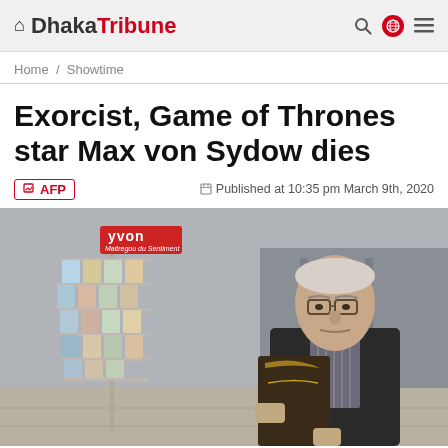Dhaka Tribune
Home / Showtime
Exorcist, Game of Thrones star Max von Sydow dies
AFP   Published at 10:35 pm March 9th, 2020
[Figure (photo): Max von Sydow standing next to a postcard stand outdoors, holding a dark book, with a Gothic cathedral entrance visible in the background. Photo by AFP.]